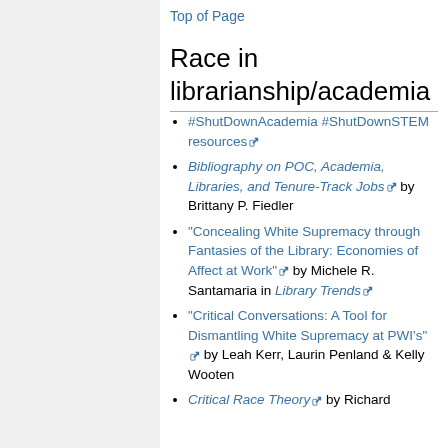Top of Page
Race in librarianship/academia
#ShutDownAcademia #ShutDownSTEM resources
Bibliography on POC, Academia, Libraries, and Tenure-Track Jobs by Brittany P. Fiedler
"Concealing White Supremacy through Fantasies of the Library: Economies of Affect at Work" by Michele R. Santamaria in Library Trends
"Critical Conversations: A Tool for Dismantling White Supremacy at PWI's" by Leah Kerr, Laurin Penland & Kelly Wooten
Critical Race Theory by Richard